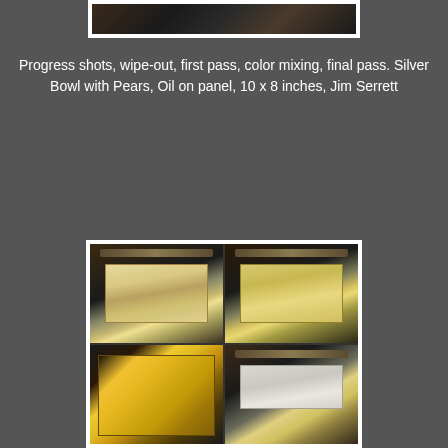[Figure (photo): Partial top photo showing an artist's easel setup with painting in progress, dark studio background]
Progress shots, wipe-out, first pass, color mixing, final pass. Silver Bowl with Pears, Oil on panel, 10 x 8 inches, Jim Serrett
[Figure (photo): Grid of four progress photos showing Silver Bowl with Pears painting at different stages on an easel, and color mixing palette shots]